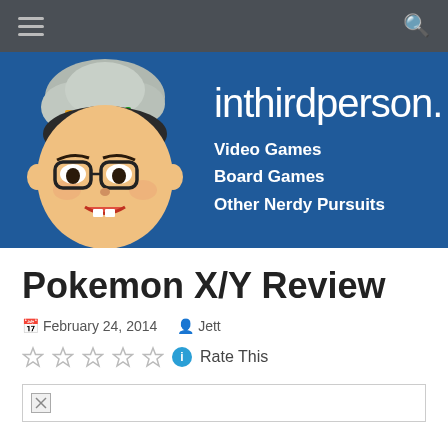inthirdperson. Video Games Board Games Other Nerdy Pursuits
Pokemon X/Y Review
February 24, 2014  Jett
Rate This
[Figure (illustration): Broken image placeholder at bottom of page]